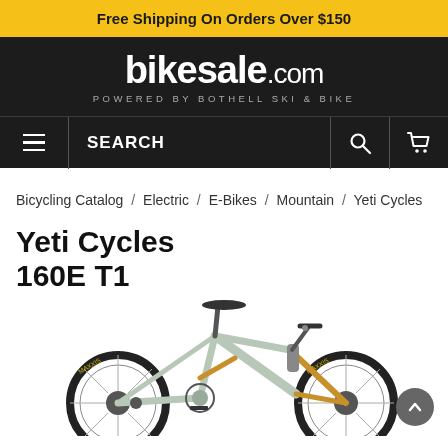Free Shipping On Orders Over $150
[Figure (logo): bikesale.com logo with tagline POWERED BY BOTHELL SKI & BIKE on dark background]
SEARCH navigation bar with hamburger menu, search icon, and cart icon
Bicycling Catalog / Electric / E-Bikes / Mountain / Yeti Cycles
Yeti Cycles 160E T1
[Figure (photo): Light gray/mint Yeti Cycles 160E T1 electric mountain bike with gold/bronze fork, Maxxis tires, and full suspension, shown from the right side]